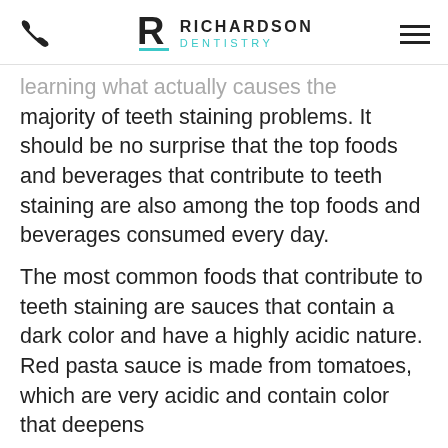Richardson Dentistry
learning what actually causes the majority of teeth staining problems. It should be no surprise that the top foods and beverages that contribute to teeth staining are also among the top foods and beverages consumed every day.
The most common foods that contribute to teeth staining are sauces that contain a dark color and have a highly acidic nature. Red pasta sauce is made from tomatoes, which are very acidic and contain color that deepens